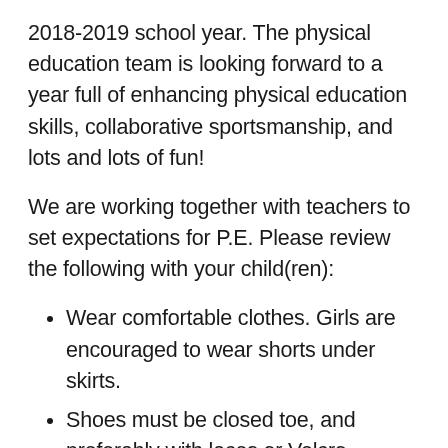2018-2019 school year. The physical education team is looking forward to a year full of enhancing physical education skills, collaborative sportsmanship, and lots and lots of fun!
We are working together with teachers to set expectations for P.E. Please review the following with your child(ren):
Wear comfortable clothes. Girls are encouraged to wear shorts under skirts.
Shoes must be closed toe, and preferably with laces or Velcro enclosure. Wearing inappropriate shoes can limit a child's ability to participate effectively in some P.E.